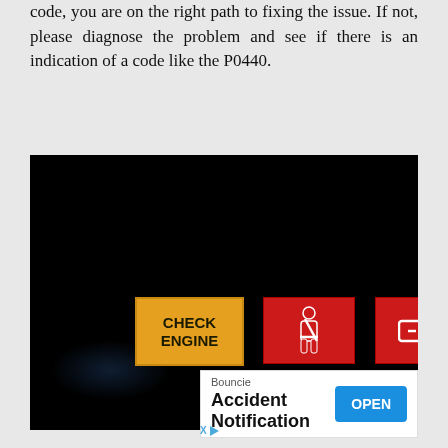code, you are on the right path to fixing the issue. If not, please diagnose the problem and see if there is an indication of a code like the P0440.
[Figure (photo): Dashboard warning lights on a dark background showing three illuminated indicators: an amber CHECK ENGINE light, a red seatbelt warning light, and a red battery warning light.]
[Figure (screenshot): Advertisement banner for Bouncie app featuring 'Accident Notification' with a blue OPEN button and small X and play icons at bottom-left.]